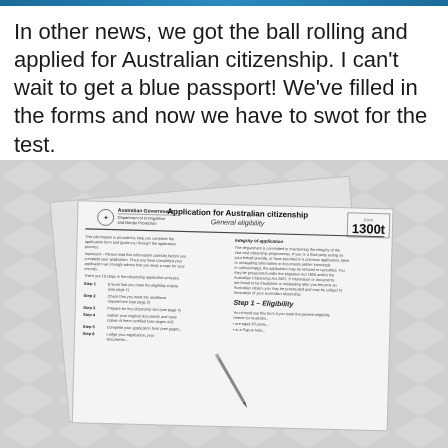In other news, we got the ball rolling and applied for Australian citizenship. I can't wait to get a blue passport! We've filled in the forms and now we have to swot for the test.
[Figure (photo): Photograph of an Australian Government Department of Immigration and Border Protection citizenship application form (Form 1300t) laid on a chevron-patterned grey and white background, with a pen resting on the form.]